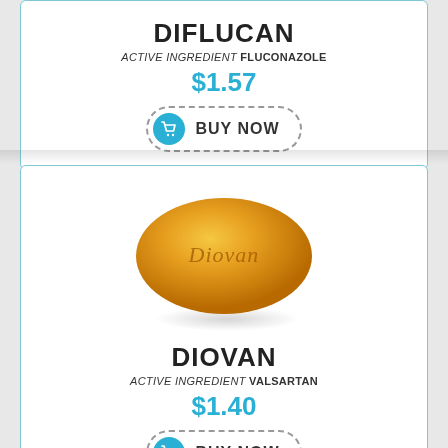DIFLUCAN
ACTIVE INGREDIENT FLUCONAZOLE
$1.57
BUY NOW
[Figure (photo): Orange/gold oval Diovan pill with 'Diovan' embossed on surface, shown with shadow beneath]
DIOVAN
ACTIVE INGREDIENT VALSARTAN
$1.40
BUY NOW